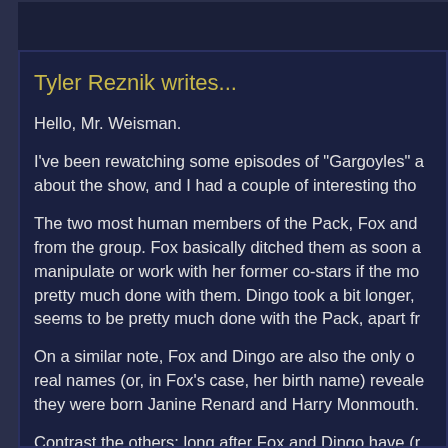Question receive
Tyler Reznik writes...
Hello, Mr. Weisman.
I've been rewatching some episodes of "Gargoyles" a about the show, and I had a couple of interesting tho
The two most human members of the Pack, Fox and from the group. Fox basically ditched them as soon a manipulate or work with her former co-stars if the mo pretty much done with them. Dingo took a bit longer, seems to be pretty much done with the Pack, apart fr
On a similar note, Fox and Dingo are also the only o real names (or, in Fox's case, her birth name) reveale they were born Janine Renard and Harry Monmouth.
Contrast the others: long after Fox and Dingo have (r and Hyena continue a life of crime. On top of that, we identify them (although, for some reason, I keep think